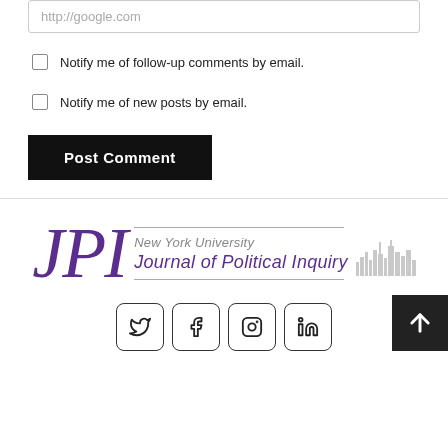http://google.com
Notify me of follow-up comments by email.
Notify me of new posts by email.
Post Comment
[Figure (logo): JPI New York University Journal of Political Inquiry logo with purple serif letters and city skyline graphic]
[Figure (other): Social media icon buttons: Twitter, Facebook, Instagram, LinkedIn]